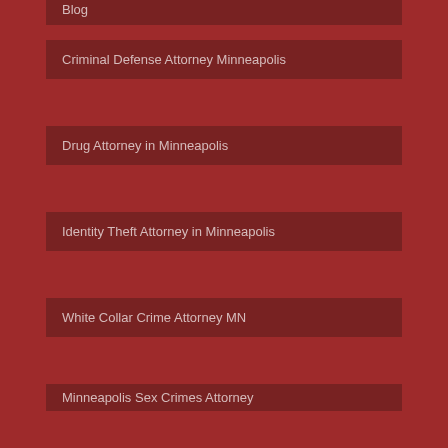Blog
Criminal Defense Attorney Minneapolis
Drug Attorney in Minneapolis
Identity Theft Attorney in Minneapolis
White Collar Crime Attorney MN
Minneapolis Sex Crimes Attorney
MN Drug Case Attorney
MN Federal Criminal Defense Lawyer
FAQ
Contact